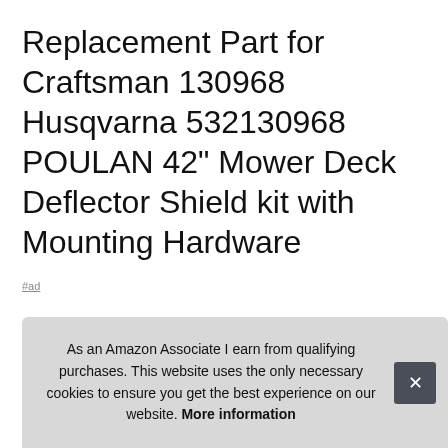Replacement Part for Craftsman 130968 Husqvarna 532130968 POULAN 42" Mower Deck Deflector Shield kit with Mounting Hardware
#ad
Earthtec #ad - There are many parts for 42" deck! please make sure this is the right one for your mower! Please check your OEM look inclu
As an Amazon Associate I earn from qualifying purchases. This website uses the only necessary cookies to ensure you get the best experience on our website. More information